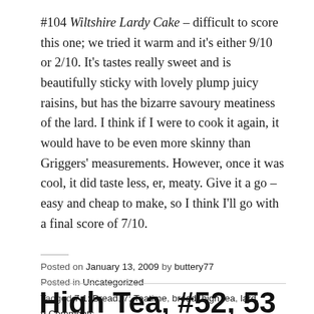#104 Wiltshire Lardy Cake – difficult to score this one; we tried it warm and it's either 9/10 or 2/10. It's tastes really sweet and is beautifully sticky with lovely plump juicy raisins, but has the bizarre savoury meatiness of the lard. I think if I were to cook it again, it would have to be even more skinny than Griggers' measurements. However, once it was cool, it did taste less, er, meaty. Give it a go – easy and cheap to make, so I think I'll go with a final score of 7/10.
Posted on January 13, 2009 by buttery77
Posted in Uncategorized
Tagged 7.1: Bread, 7: Teatime, bread, high tea, lard.
9 Comments
High Tea, #52, 53